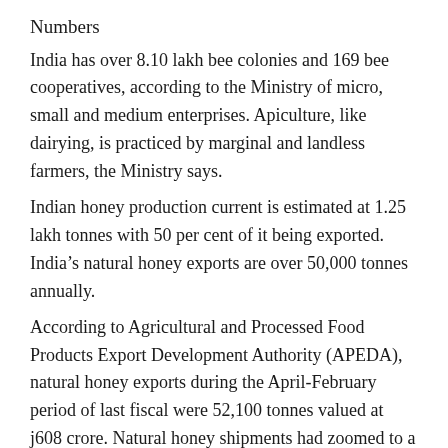Numbers
India has over 8.10 lakh bee colonies and 169 bee cooperatives, according to the Ministry of micro, small and medium enterprises. Apiculture, like dairying, is practiced by marginal and landless farmers, the Ministry says.
Indian honey production current is estimated at 1.25 lakh tonnes with 50 per cent of it being exported. India’s natural honey exports are over 50,000 tonnes annually.
According to Agricultural and Processed Food Products Export Development Authority (APEDA), natural honey exports during the April-February period of last fiscal were 52,100 tonnes valued at j608 crore. Natural honey shipments had zoomed to a record 61,333 tonnes fetching j732.19 crore during 2018-19.
APEDA says that the north-eastern region and Maharashtra are the key areas of natural honey production, while the US, UAE, Saudi Arabia and Canada are the main export destinations of India...